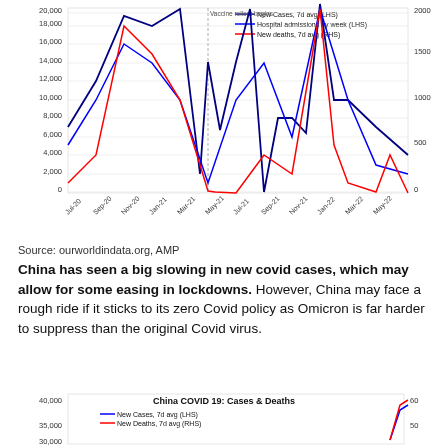[Figure (line-chart): UK COVID-19: Cases, Hospital Admissions & Deaths]
Source: ourworldindata.org, AMP
China has seen a big slowing in new covid cases, which may allow for some easing in lockdowns. However, China may face a rough ride if it sticks to its zero Covid policy as Omicron is far harder to suppress than the original Covid virus.
[Figure (line-chart): China COVID 19: Cases & Deaths]